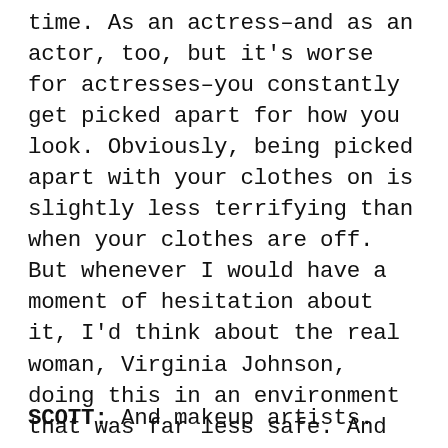time. As an actress–and as an actor, too, but it's worse for actresses–you constantly get picked apart for how you look. Obviously, being picked apart with your clothes on is slightly less terrifying than when your clothes are off. But whenever I would have a moment of hesitation about it, I'd think about the real woman, Virginia Johnson, doing this in an environment that was far less safe. And she wasn't surrounded by a handful of highly qualified men who are lighting her perfectly—
SCOTT: And makeup artists.